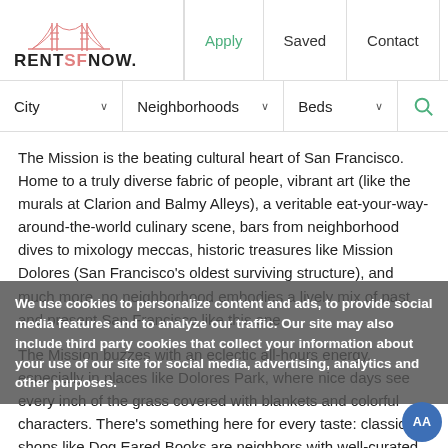RENTSFNOW — Apply | Saved | Contact | Menu
City ∨   Neighborhoods ∨   Beds ∨   🔍
The Mission is the beating cultural heart of San Francisco. Home to a truly diverse fabric of people, vibrant art (like the murals at Clarion and Balmy Alleys), a veritable eat-your-way-around-the-world culinary scene, bars from neighborhood dives to mixology meccas, historic treasures like Mission Dolores (San Francisco's oldest surviving structure), and much more, no neighborhood embodies a lively mix of past and present San Francisco like this one.
The Mission buzzes with an eclectic all-hours energy, especially in places like Dolores Park, where nice days see every inch of the grass covered with blankets and colorful characters. There's something here for every taste: classic shops like Dog Eared Books are neighbors with well-curated boutiques; you can catch a movie at Alamo Drafthouse or the renowned Roxie Theater, or your latest playlist favorite live at The Chapel. Foodies and cocktail aficionados have much time here you get? Read some of our more...
We use cookies to personalize content and ads, to provide social media features and to analyze our traffic. Our site may also include third party cookies that collect your information about your use of our site for social media, advertising, analytics and other purposes.